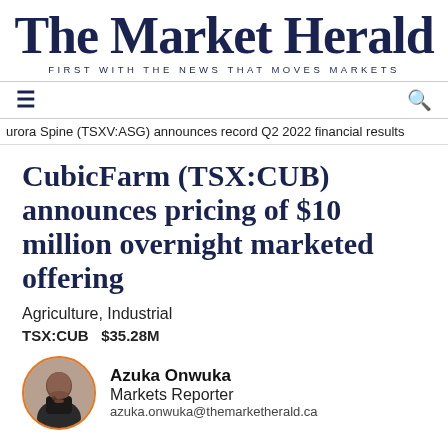The Market Herald — FIRST WITH THE NEWS THAT MOVES MARKETS
Aurora Spine (TSXV:ASG) announces record Q2 2022 financial results
CubicFarm (TSX:CUB) announces pricing of $10 million overnight marketed offering
Agriculture, Industrial
TSX:CUB   $35.28M
Azuka Onwuka
Markets Reporter
azuka.onwuka@themarketherald.ca